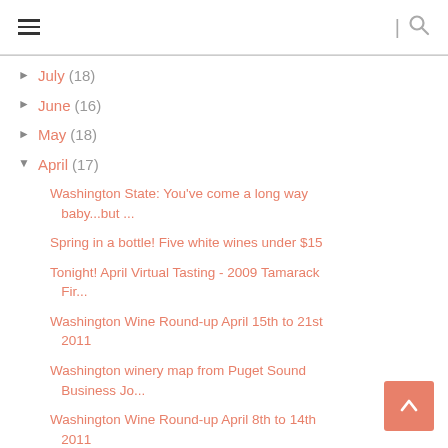navigation header with hamburger menu and search icon
► July (18)
► June (16)
► May (18)
▼ April (17)
Washington State: You've come a long way baby...but ...
Spring in a bottle! Five white wines under $15
Tonight! April Virtual Tasting - 2009 Tamarack Fir...
Washington Wine Round-up April 15th to 21st 2011
Washington winery map from Puget Sound Business Jo...
Washington Wine Round-up April 8th to 14th 2011